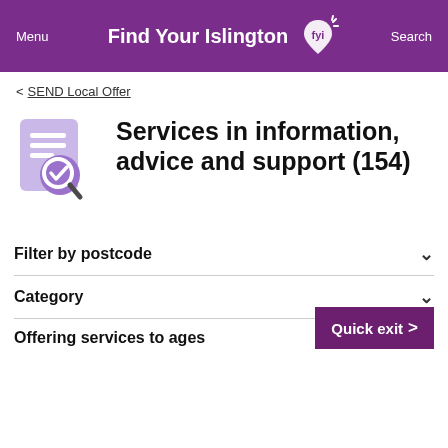Menu  Find Your Islington  Search
< SEND Local Offer
[Figure (illustration): Purple document with magnifying glass and checkmark icon]
Services in information, advice and support (154)
Filter by postcode
Category
Quick exit >
Offering services to ages